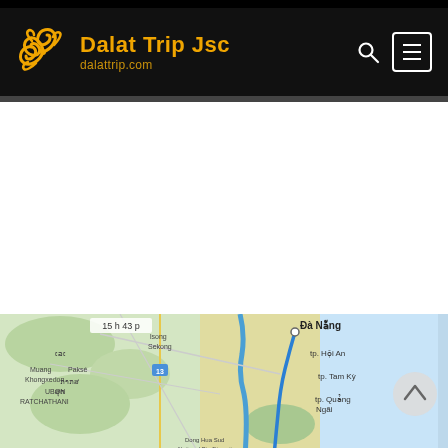Dalat Trip Jsc — dalattrip.com
[Figure (map): Map showing Vietnam coastal region including Da Nang, Hoi An, Tam Ky, Quang Ngai, and border areas with Laos including Pakse and surrounding areas. A blue route line runs south from Da Nang along the coast. Timestamp 15h43p shown in top-left of map.]